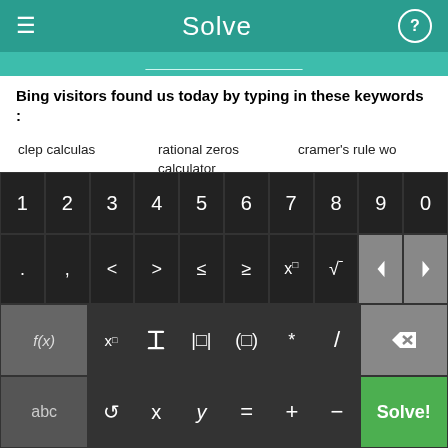Solve
Bing visitors found us today by typing in these keywords :
clep calculas
rational zeros calculator
cramer's rule wo
free meap tests for ninth grade
simultaneous equation solver program
online solver and synthetic division free
free company aptitude questions
mathematic trivia in elementary grade
8th grade Algebra sample test
[Figure (screenshot): On-screen math keyboard with digit keys 1-0, operator symbols including < > ≤ ≥ x^□ √, function keys f(x), x subscript, fraction, absolute value, parentheses, * / backspace, and bottom row with abc, refresh, x, y, =, +, -, and green Solve! button]